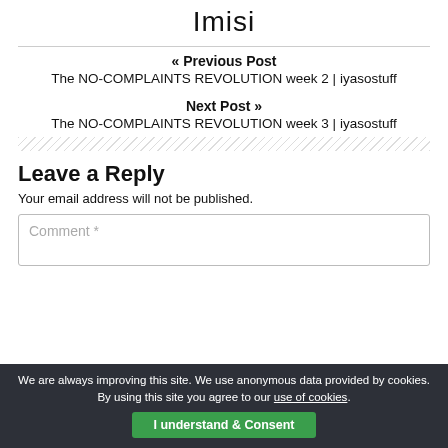Imisi
« Previous Post
The NO-COMPLAINTS REVOLUTION week 2 | iyasostuff
Next Post »
The NO-COMPLAINTS REVOLUTION week 3 | iyasostuff
Leave a Reply
Your email address will not be published.
Comment *
We are always improving this site. We use anonymous data provided by cookies. By using this site you agree to our use of cookies.
I understand & Consent